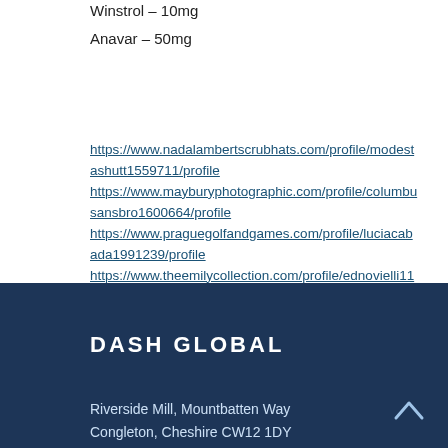Winstrol – 10mg
Anavar – 50mg
https://www.nadalambertscrubhats.com/profile/modestashutt1559711/profile
https://www.mayburyphotographic.com/profile/columbusansbro1600664/profile
https://www.praguegolfandgames.com/profile/luciacabada1991239/profile
https://www.theemilycollection.com/profile/ednovielli1102579/profile
DASH GLOBAL
Riverside Mill, Mountbatten Way
Congleton, Cheshire CW12 1DY